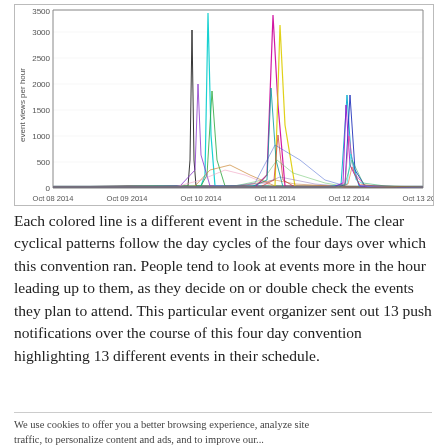[Figure (continuous-plot): Multi-line time series chart showing event views per hour for many different events (colored lines) from Oct 08 2014 to Oct 13 2014. Y-axis ranges from 0 to 3500. Clear cyclical peaks appear on Oct 10, 11, and 12.]
Each colored line is a different event in the schedule. The clear cyclical patterns follow the day cycles of the four days over which this convention ran. People tend to look at events more in the hour leading up to them, as they decide on or double check the events they plan to attend. This particular event organizer sent out 13 push notifications over the course of this four day convention highlighting 13 different events in their schedule.
We use cookies to offer you a better browsing experience, analyze site traffic, to personalize content and ads, and to improve our...